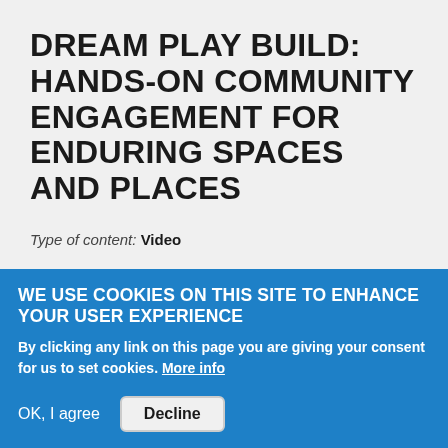DREAM PLAY BUILD: HANDS-ON COMMUNITY ENGAGEMENT FOR ENDURING SPACES AND PLACES
Type of content: Video
People love their communities and want them to become safer, healthier, more prosperous places. But the standard approach to public meetings somehow makes everyone miserable. Conversations that should be inspiring can become
WE USE COOKIES ON THIS SITE TO ENHANCE YOUR USER EXPERIENCE
By clicking any link on this page you are giving your consent for us to set cookies. More info
OK, I agree   Decline